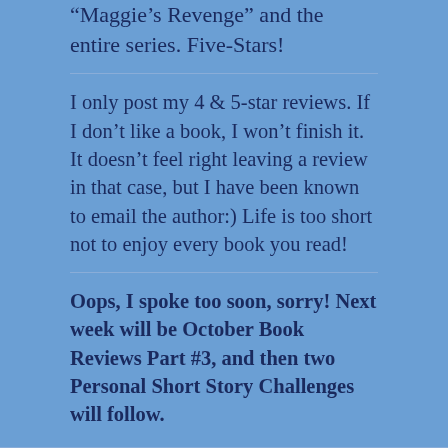“Maggie’s Revenge” and the entire series. Five-Stars!
I only post my 4 & 5-star reviews. If I don’t like a book, I won’t finish it. It doesn’t feel right leaving a review in that case, but I have been known to email the author:) Life is too short not to enjoy every book you read!
Oops, I spoke too soon, sorry! Next week will be October Book Reviews Part #3, and then two Personal Short Story Challenges will follow.